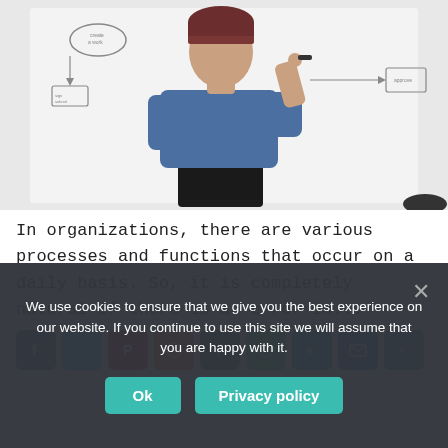[Figure (photo): A person wearing a dark beanie hat and blue t-shirt, seen from behind, writing or drawing a flowchart/diagram on a whiteboard with a marker.]
In organizations, there are various processes and functions that occur on a daily basis. So, it is completely natural if there is an error in...
[Figure (other): Social media share buttons row: Facebook (blue), Twitter (blue), Pinterest (red), Reddit (orange), Tumblr (dark), WhatsApp (green), Telegram (light blue), Email (blue), another button (blue).]
We use cookies to ensure that we give you the best experience on our website. If you continue to use this site we will assume that you are happy with it.